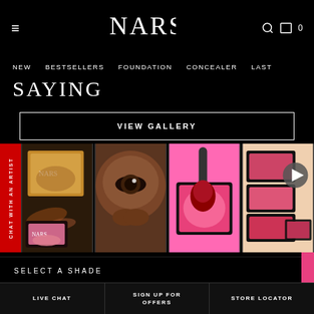NARS
NEW   BESTSELLERS   FOUNDATION   CONCEALER   LAST
SAYING
VIEW GALLERY
CHAT WITH AN ARTIST
[Figure (photo): Gallery of four makeup product images: NARS blush compact with powder smear, close-up of a woman's eye and cheek, pink blush palette with brush, multiple NARS blush compacts with play button overlay]
SELECT A SHADE
LIVE CHAT
SIGN UP FOR OFFERS
STORE LOCATOR